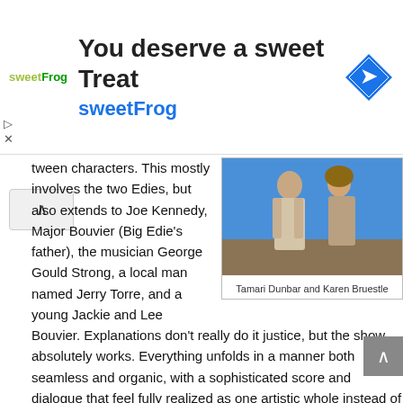[Figure (other): Advertisement banner for sweetFrog with logo, tagline 'You deserve a sweet Treat', and navigation icon]
[Figure (photo): Photo of Tamari Dunbar and Karen Bruestle on stage with blue background]
Tamari Dunbar and Karen Bruestle
tween characters. This mostly involves the two Edies, but also extends to Joe Kennedy, Major Bouvier (Big Edie's father), the musician George Gould Strong, a local man named Jerry Torre, and a young Jackie and Lee Bouvier. Explanations don't really do it justice, but the show absolutely works. Everything unfolds in a manner both seamless and organic, with a sophisticated score and dialogue that feel fully realized as one artistic whole instead of component pieces.
Fortunately, the sophistication of the material is